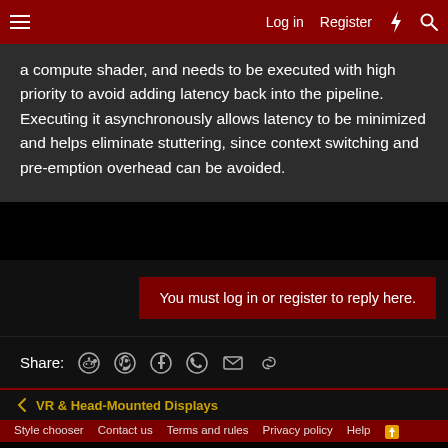Log in  Register
a compute shader, and needs to be executed with high priority to avoid adding latency back into the pipeline. Executing it asynchronously allows latency to be minimized and helps eliminate stuttering, since context switching and pre-emption overhead can be avoided.
You must log in or register to reply here.
Share:
VR & Head-Mounted Displays
Style chooser  Contact us  Terms and rules  Privacy policy  Help
Design by: Pixel Exit